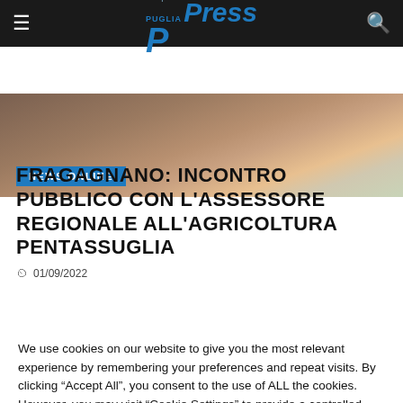PPress – quotidiano online (Puglia Press)
[Figure (photo): Hero image of people in colorful clothing, partially visible]
NEWS ONLINE
FRAGAGNANO: INCONTRO PUBBLICO CON L'ASSESSORE REGIONALE ALL'AGRICOLTURA PENTASSUGLIA
01/09/2022
[Figure (other): Advertisement placeholder block (gray rectangle)]
We use cookies on our website to give you the most relevant experience by remembering your preferences and repeat visits. By clicking "Accept All", you consent to the use of ALL the cookies. However, you may visit "Cookie Settings" to provide a controlled consent.
Cookie Settings  Accept All